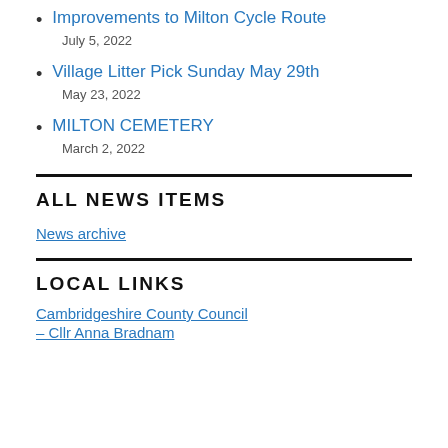Improvements to Milton Cycle Route
July 5, 2022
Village Litter Pick Sunday May 29th
May 23, 2022
MILTON CEMETERY
March 2, 2022
ALL NEWS ITEMS
News archive
LOCAL LINKS
Cambridgeshire County Council – Cllr Anna Bradnam